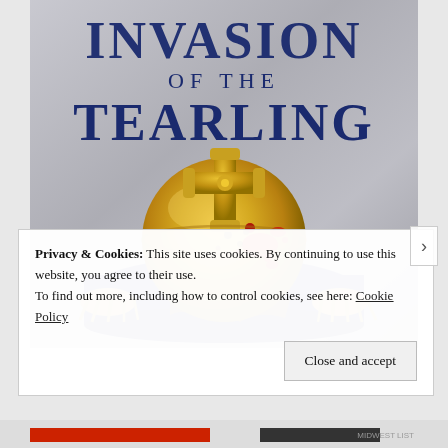[Figure (illustration): Book cover for 'Invasion of the Tearling' showing a golden orb topped with a cross, splattered with blood, resting on a blue cloth with rope tassels, against a silver background. Title text in dark blue reads 'INVASION OF THE TEARLING'.]
Privacy & Cookies: This site uses cookies. By continuing to use this website, you agree to their use.
To find out more, including how to control cookies, see here: Cookie Policy
Close and accept